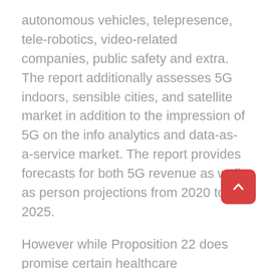autonomous vehicles, telepresence, tele-robotics, video-related companies, public safety and extra. The report additionally assesses 5G indoors, sensible cities, and satellite market in addition to the impression of 5G on the info analytics and data-as-a-service market. The report provides forecasts for both 5G revenue as well as person projections from 2020 to 2025.
However while Proposition 22 does promise certain healthcare advantages plus paid break day, they fall far short of these of traditional employment. In response to Koonse, Proposition 22 would walk again the ABC take a look at mentioned earlier in order that they wouldn't have to supply proper worker benefits like paid sick leave, staff compensation or unemployment advantages.
The talk comes as hope grows that vaccines might ultimately provide a method out of the pandemic, and public well being